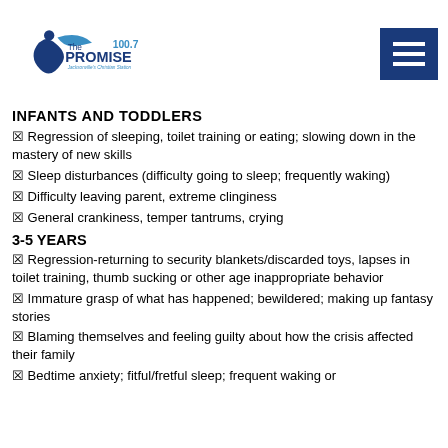[Figure (logo): The Promise 100.7 Jacksonville's Christian Station radio logo with blue stylized figure and swoosh]
INFANTS AND TODDLERS
Regression of sleeping, toilet training or eating; slowing down in the mastery of new skills
Sleep disturbances (difficulty going to sleep; frequently waking)
Difficulty leaving parent, extreme clinginess
General crankiness, temper tantrums, crying
3-5 YEARS
Regression-returning to security blankets/discarded toys, lapses in toilet training, thumb sucking or other age inappropriate behavior
Immature grasp of what has happened; bewildered; making up fantasy stories
Blaming themselves and feeling guilty about how the crisis affected their family
Bedtime anxiety; fitful/fretful sleep; frequent waking or